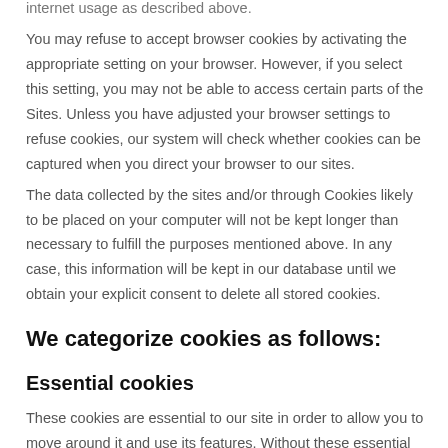internet usage as described above.
You may refuse to accept browser cookies by activating the appropriate setting on your browser. However, if you select this setting, you may not be able to access certain parts of the Sites. Unless you have adjusted your browser settings to refuse cookies, our system will check whether cookies can be captured when you direct your browser to our sites.
The data collected by the sites and/or through Cookies likely to be placed on your computer will not be kept longer than necessary to fulfill the purposes mentioned above. In any case, this information will be kept in our database until we obtain your explicit consent to delete all stored cookies.
We categorize cookies as follows:
Essential cookies
These cookies are essential to our site in order to allow you to move around it and use its features. Without these essential cookies, we